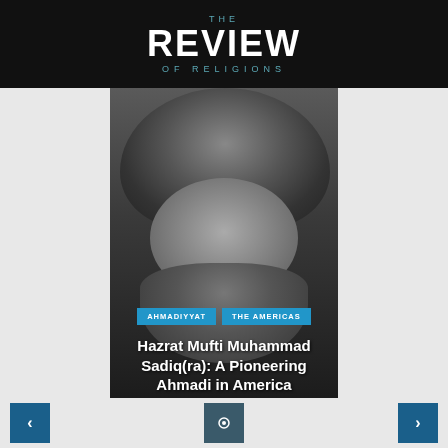THE REVIEW OF RELIGIONS
[Figure (photo): Black and white portrait of Hazrat Mufti Muhammad Sadiq(ra) wearing a turban and having a long beard]
AHMADIYYAT
THE AMERICAS
Hazrat Mufti Muhammad Sadiq(ra): A Pioneering Ahmadi in America
19th October 2018